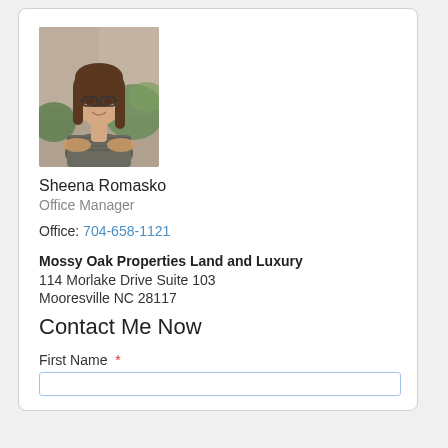[Figure (photo): Professional headshot of Sheena Romasko, a woman with long brown hair and glasses, wearing a striped sleeveless top, arms crossed, standing outdoors near brick wall and greenery.]
Sheena Romasko
Office Manager
Office: 704-658-1121
Mossy Oak Properties Land and Luxury
114 Morlake Drive Suite 103
Mooresville NC 28117
Contact Me Now
First Name *